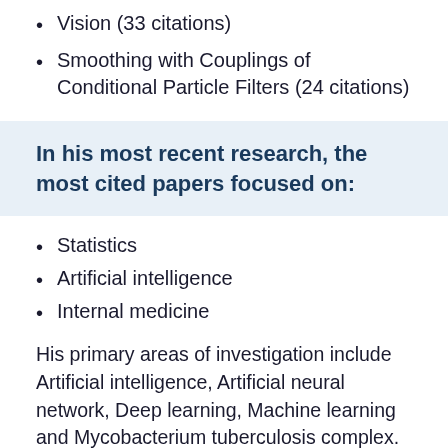Vision (33 citations)
Smoothing with Couplings of Conditional Particle Filters (24 citations)
In his most recent research, the most cited papers focused on:
Statistics
Artificial intelligence
Internal medicine
His primary areas of investigation include Artificial intelligence, Artificial neural network, Deep learning, Machine learning and Mycobacterium tuberculosis complex. The concepts of his Artificial intelligence study are interwoven with issues in Computer vision and Code. His studies deal with areas such as Uncertainty quantification, Probability...